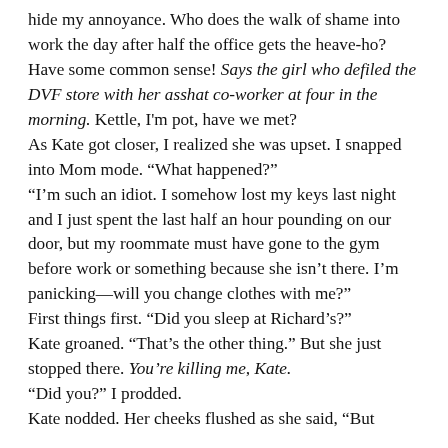hide my annoyance. Who does the walk of shame into work the day after half the office gets the heave-ho? Have some common sense! Says the girl who defiled the DVF store with her asshat co-worker at four in the morning. Kettle, I'm pot, have we met?
As Kate got closer, I realized she was upset. I snapped into Mom mode. "What happened?"
"I'm such an idiot. I somehow lost my keys last night and I just spent the last half an hour pounding on our door, but my roommate must have gone to the gym before work or something because she isn't there. I'm panicking—will you change clothes with me?"
First things first. "Did you sleep at Richard's?"
Kate groaned. "That's the other thing." But she just stopped there. You're killing me, Kate.
"Did you?" I prodded.
Kate nodded. Her cheeks flushed as she said, "But